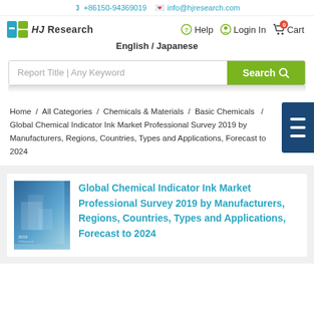+86150-94369019   info@hjresearch.com
[Figure (logo): HJ Research logo with stylized H icon in blue/green and text 'HJ Research']
Help   Login In   Cart 0
English / Japanese
Report Title | Any Keyword  Search
Home / All Categories / Chemicals & Materials / Basic Chemicals / Global Chemical Indicator Ink Market Professional Survey 2019 by Manufacturers, Regions, Countries, Types and Applications, Forecast to 2024
Global Chemical Indicator Ink Market Professional Survey 2019 by Manufacturers, Regions, Countries, Types and Applications, Forecast to 2024